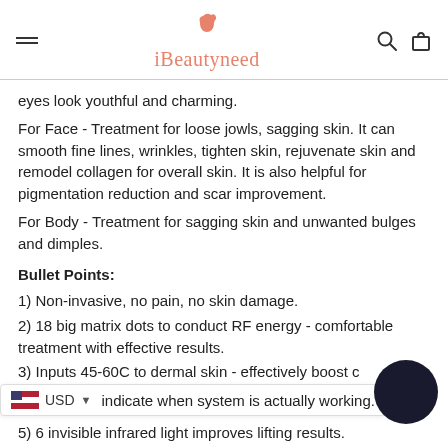iBeautyneed
eyes look youthful and charming.
For Face - Treatment for loose jowls, sagging skin. It can smooth fine lines, wrinkles, tighten skin, rejuvenate skin and remodel collagen for overall skin. It is also helpful for pigmentation reduction and scar improvement.
For Body - Treatment for sagging skin and unwanted bulges and dimples.
Bullet Points:
1) Non-invasive, no pain, no skin damage.
2) 18 big matrix dots to conduct RF energy - comfortable treatment with effective results.
3) Inputs 45-60C to dermal skin - effectively boost c and stimulate dermis.
4) indicate when system is actually working.
5) 6 invisible infrared light improves lifting results.